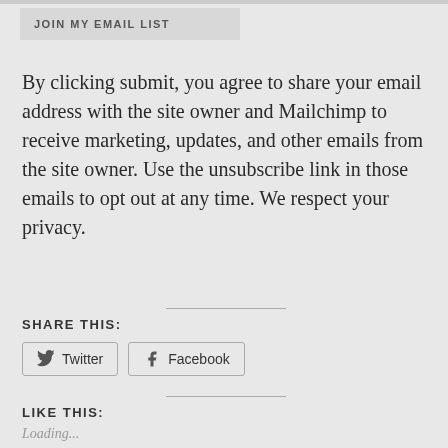JOIN MY EMAIL LIST
By clicking submit, you agree to share your email address with the site owner and Mailchimp to receive marketing, updates, and other emails from the site owner. Use the unsubscribe link in those emails to opt out at any time. We respect your privacy.
SHARE THIS:
Twitter  Facebook
LIKE THIS:
Loading...